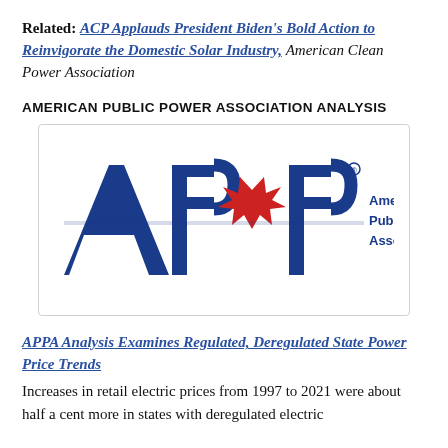Related: ACP Applauds President Biden's Bold Action to Reinvigorate the Domestic Solar Industry, American Clean Power Association
AMERICAN PUBLIC POWER ASSOCIATION ANALYSIS
[Figure (logo): APPA (American Public Power Association) logo — blue bold letters APPA with a red star-burst design, followed by text 'American Public Power Association']
APPA Analysis Examines Regulated, Deregulated State Power Price Trends
Increases in retail electric prices from 1997 to 2021 were about half a cent more in states with deregulated electric